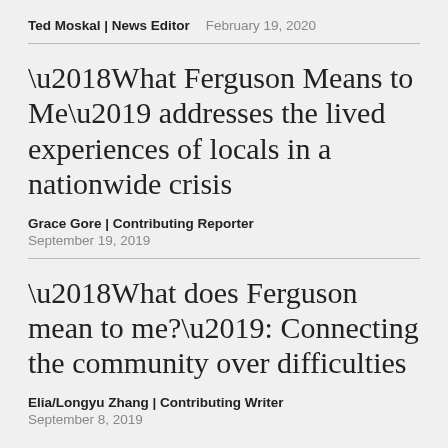Ted Moskal | News Editor   February 19, 2020
‘What Ferguson Means to Me’ addresses the lived experiences of locals in a nationwide crisis
Grace Gore | Contributing Reporter
September 19, 2019
‘What does Ferguson mean to me?’: Connecting the community over difficulties
Elia/Longyu Zhang | Contributing Writer
September 8, 2019